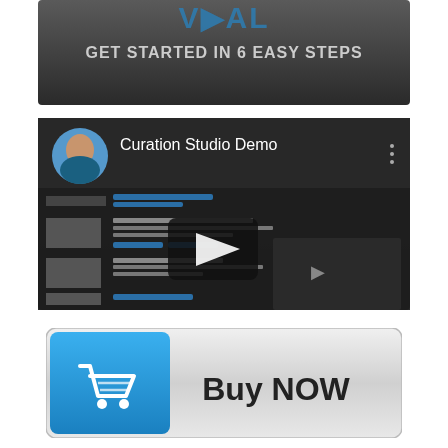[Figure (screenshot): Dark-themed video thumbnail or screen with text 'GET STARTED IN 6 EASY STEPS' in white/gray bold letters, partial logo visible at top.]
[Figure (screenshot): YouTube-style video player screenshot showing 'Curation Studio Demo' with a woman's profile photo avatar, a play button overlay in the center, and a software interface visible in the background. Three-dot menu icon in top right.]
[Figure (illustration): Buy NOW button with a blue left panel containing a white shopping cart icon and a gray/silver right panel with bold dark text 'Buy NOW'.]